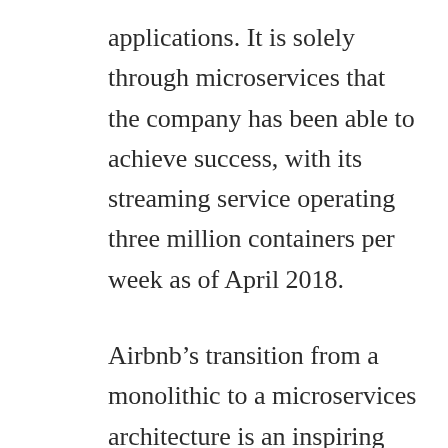applications. It is solely through microservices that the company has been able to achieve success, with its streaming service operating three million containers per week as of April 2018.
Airbnb's transition from a monolithic to a microservices architecture is an inspiring one. They needed to scale continuous delivery horizontally, and the objective was to make available continuous delivery to the company's